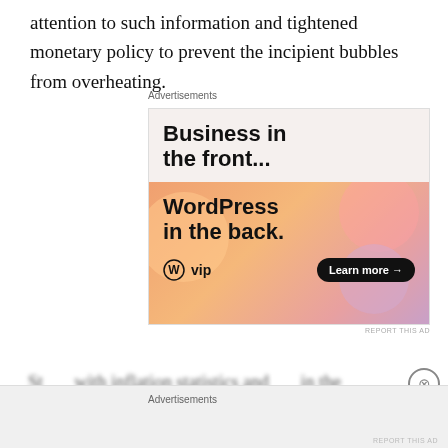attention to such information and tightened monetary policy to prevent the incipient bubbles from overheating.
Advertisements
[Figure (other): WordPress VIP advertisement banner. Top section on light beige background with bold text 'Business in the front...'. Bottom section with orange-pink gradient background, bold text 'WordPress in the back.', WordPress VIP logo on left, and 'Learn more →' button on right.]
REPORT THIS AD
St... ...with inflation statistics and... ...in the...
Advertisements
REPORT THIS AD